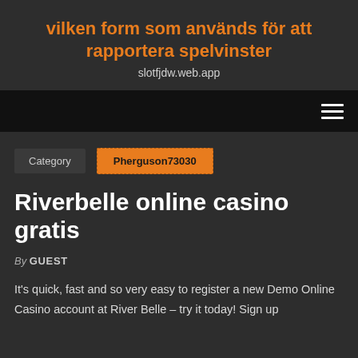vilken form som används för att rapportera spelvinster
slotfjdw.web.app
[Figure (other): Navigation bar with hamburger menu icon (three horizontal white lines) on dark/black background]
Category   Pherguson73030
Riverbelle online casino gratis
By GUEST
It's quick, fast and so very easy to register a new Demo Online Casino account at River Belle – try it today! Sign up